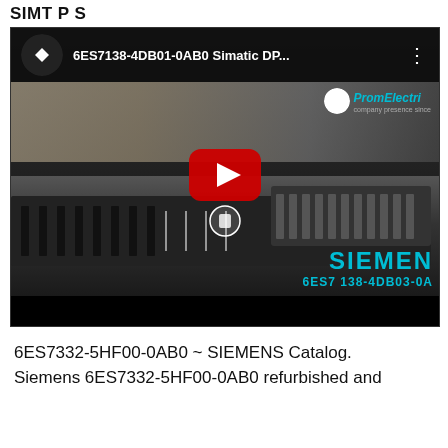SIMT P S
[Figure (screenshot): YouTube video thumbnail showing a Siemens SIMATIC DP module (6ES7138-4DB01-0AB0). The video player shows the YouTube logo, video title '6ES7138-4DB01-0AB0 Simatic DP...', a red play button in the center, PromElectri watermark in top right, and Siemens branding with model number '6ES7 138-4DB03-0A' at the bottom. The thumbnail shows electronic hardware components.]
6ES7332-5HF00-0AB0 ~ SIEMENS Catalog. Siemens 6ES7332-5HF00-0AB0 refurbished and